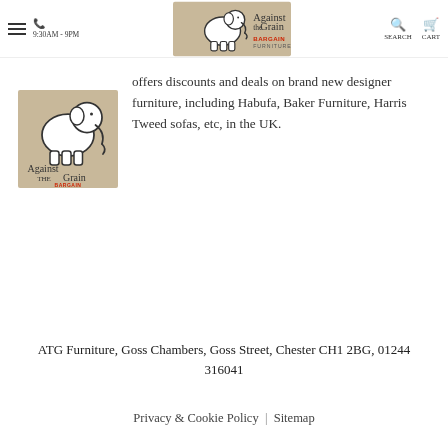9:30AM - 9PM | Against the Grain Bargain Furniture | SEARCH | CART
[Figure (logo): Against the Grain Bargain Furniture logo with elephant illustration, top center of page]
[Figure (logo): Against the Grain Bargain Furniture logo with elephant illustration, secondary smaller version]
offers discounts and deals on brand new designer furniture, including Habufa, Baker Furniture, Harris Tweed sofas, etc, in the UK.
ATG Furniture, Goss Chambers, Goss Street, Chester CH1 2BG, 01244 316041
Privacy & Cookie Policy | Sitemap